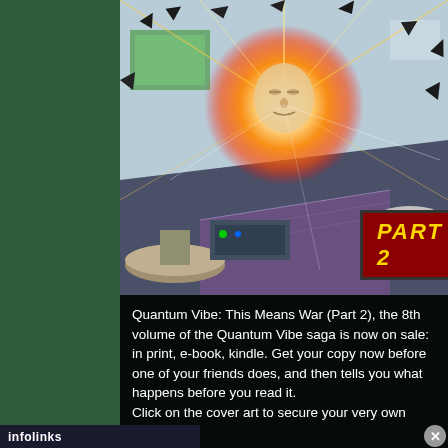[Figure (illustration): Comic book cover art showing an explosion with a face in the center, debris flying, futuristic interior setting. A dark red badge with yellow italic text reading 'PART 2' is overlaid on the image.]
Quantum Vibe: This Means War (Part 2), the 8th volume of the Quantum Vibe saga is now on sale: in print, e-book, kindle. Get your copy now before one of your friends does, and then tells you what happens before you read it.
Click on the cover art to secure your very own copy today.
infolinks